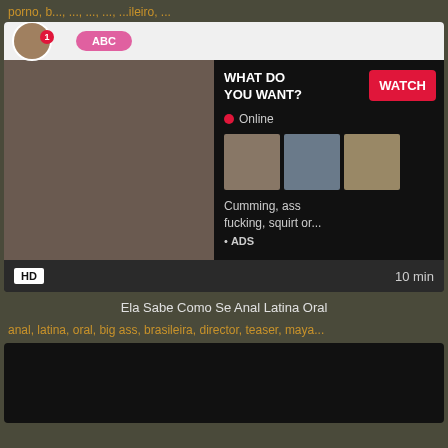porno, b..., ..., brasileiro, ...
[Figure (screenshot): Video player card with embedded ad overlay showing adult content thumbnail on left, and on right panel: 'WHAT DO YOU WANT?' text with red WATCH button, Online indicator, three small thumbnails, text 'Cumming, ass fucking, squirt or...' and '• ADS'. Below the video area: HD badge on left, '10 min' on right.]
Ela Sabe Como Se Anal Latina Oral
anal, latina, oral, big ass, brasileira, director, teaser, maya...
[Figure (screenshot): Dark black video thumbnail area at bottom of page]